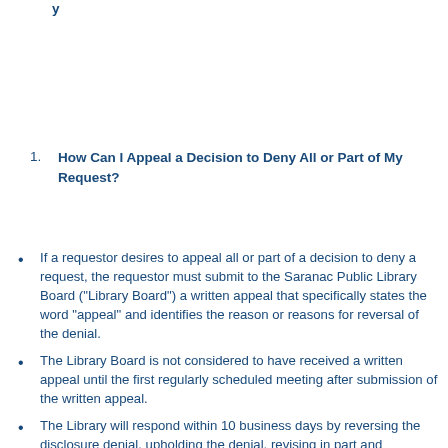How Can I Appeal a Decision to Deny All or Part of My Request?
If a requestor desires to appeal all or part of a decision to deny a request, the requestor must submit to the Saranac Public Library Board (“Library Board”) a written appeal that specifically states the word "appeal" and identifies the reason or reasons for reversal of the denial.
The Library Board is not considered to have received a written appeal until the first regularly scheduled meeting after submission of the written appeal.
The Library will respond within 10 business days by reversing the disclosure denial, upholding the denial, revising in part and upholding in part the denial or issuing a 10 business day extension.